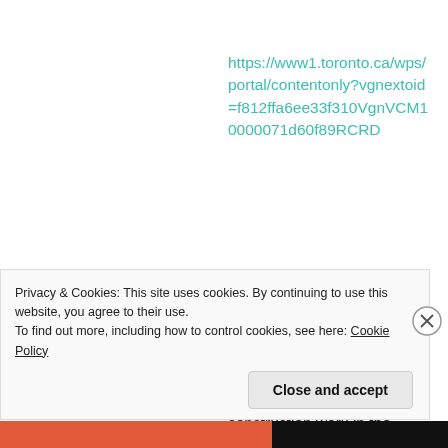https://www1.toronto.ca/wps/portal/contentonly?vgnextoid=f812ffa6ee33f310VgnVCM10000071d60f89RCRD
All new infrastructure and construction work in the ravine has to follow strict guidelines and receive approvals from TRCA that
Privacy & Cookies: This site uses cookies. By continuing to use this website, you agree to their use.
To find out more, including how to control cookies, see here: Cookie Policy
Close and accept